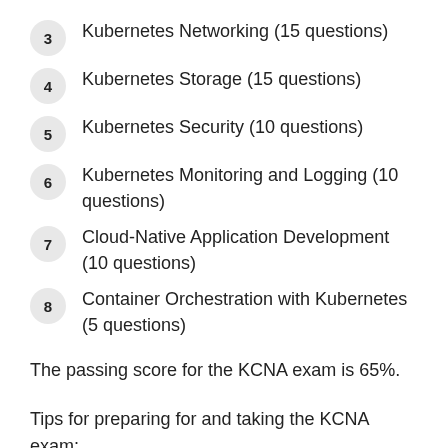3  Kubernetes Networking (15 questions)
4  Kubernetes Storage (15 questions)
5  Kubernetes Security (10 questions)
6  Kubernetes Monitoring and Logging (10 questions)
7  Cloud-Native Application Development (10 questions)
8  Container Orchestration with Kubernetes (5 questions)
The passing score for the KCNA exam is 65%.
Tips for preparing for and taking the KCNA exam: